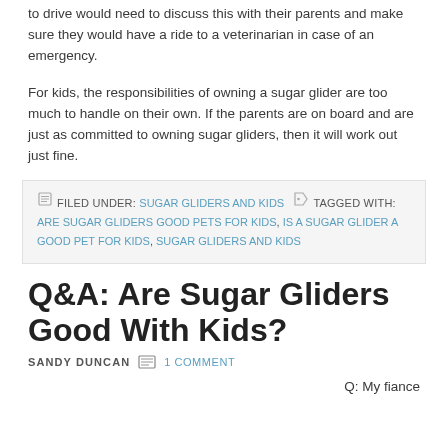to drive would need to discuss this with their parents and make sure they would have a ride to a veterinarian in case of an emergency.
For kids, the responsibilities of owning a sugar glider are too much to handle on their own. If the parents are on board and are just as committed to owning sugar gliders, then it will work out just fine.
FILED UNDER: SUGAR GLIDERS AND KIDS   TAGGED WITH: ARE SUGAR GLIDERS GOOD PETS FOR KIDS, IS A SUGAR GLIDER A GOOD PET FOR KIDS, SUGAR GLIDERS AND KIDS
Q&A: Are Sugar Gliders Good With Kids?
SANDY DUNCAN   1 COMMENT
Q: My fiance